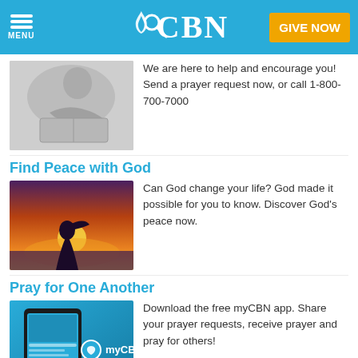CBN — MENU, Search, GIVE NOW
[Figure (photo): Person praying over an open Bible, black and white photo]
We are here to help and encourage you! Send a prayer request now, or call 1-800-700-7000
Find Peace with God
[Figure (photo): Silhouette of a person against a sunset sky with orange and yellow hues]
Can God change your life? God made it possible for you to know. Discover God's peace now.
Pray for One Another
[Figure (photo): myCBN mobile app displayed on a smartphone against a blue background with the myCBN logo]
Download the free myCBN app. Share your prayer requests, receive prayer and pray for others!